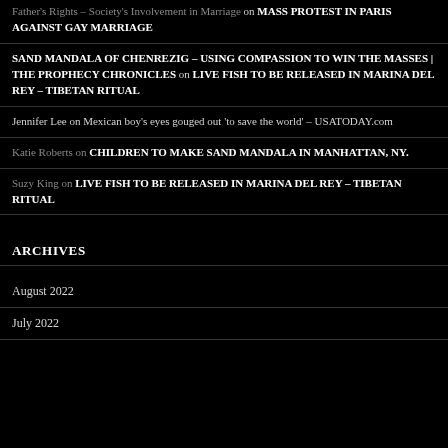Father's Rights – Society's Involvement in Marriage on MASS PROTEST IN PARIS AGAINST GAY MARRIAGE
SAND MANDALA OF CHENREZIG – USING COMPASSION TO WIN THE MASSES | THE PROPHECY CHRONICLES on LIVE FISH TO BE RELEASED IN MARINA DEL REY – TIBETAN RITUAL
Jennifer Lee on Mexican boy's eyes gouged out 'to save the world' – USATODAY.com
Katie Roberts on CHILDREN TO MAKE SAND MANDALA IN MANHATTAN, NY.
Suzy King on LIVE FISH TO BE RELEASED IN MARINA DEL REY – TIBETAN RITUAL
ARCHIVES
August 2022
July 2022